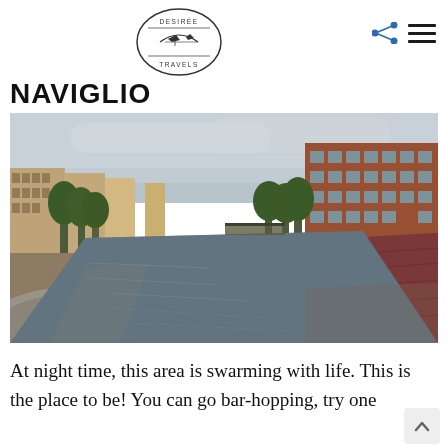Desirée Travels logo with share and menu icons
NAVIGLIO
[Figure (photo): Photograph of the Naviglio canal in Milan, Italy, showing a wide canal flanked by brick walkways lined with people, green trees, and residential apartment buildings on both sides under an overcast sky.]
At night time, this area is swarming with life. This is the place to be! You can go bar-hopping, try one